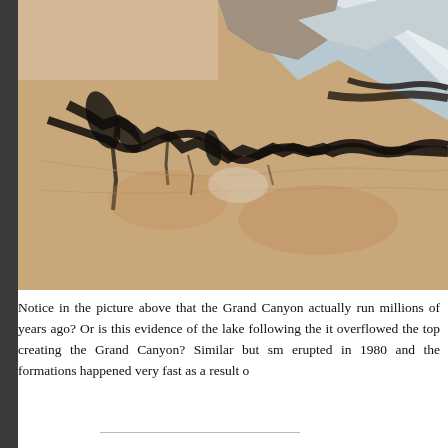[Figure (photo): Aerial/satellite photograph of the Grand Canyon region showing the canyon's winding dark cleft across reddish-brown desert terrain, with snow-capped mountains visible in the upper right area.]
Notice in the picture above that the Grand Canyon actually run millions of years ago? Or is this evidence of the lake following the it overflowed the top creating the Grand Canyon? Similar but sm erupted in 1980 and the formations happened very fast as a result o